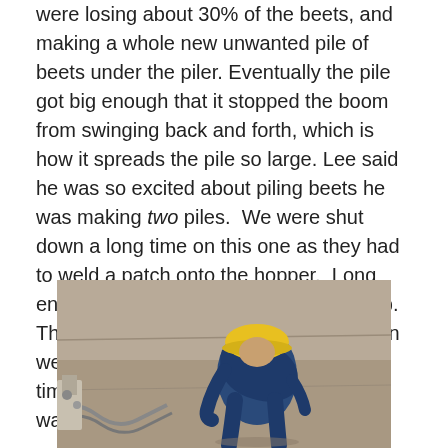were losing about 30% of the beets, and making a whole new unwanted pile of beets under the piler. Eventually the pile got big enough that it stopped the boom from swinging back and forth, which is how it spreads the pile so large. Lee said he was so excited about piling beets he was making two piles.  We were shut down a long time on this one as they had to weld a patch onto the hopper.  Long enough actually that I took a little catnap.  Then I got very lucky because right when we were up and running it was my lunch time, so I got an extended break which was well needed.
[Figure (photo): A worker in a blue jacket and yellow hard hat bending over on a concrete surface, with hoses and equipment visible nearby.]